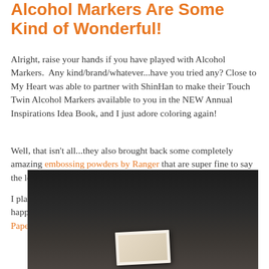Alcohol Markers Are Some Kind of Wonderful!
Alright, raise your hands if you have played with Alcohol Markers.  Any kind/brand/whatever...have you tried any? Close to My Heart was able to partner with ShinHan to make their Touch Twin Alcohol Markers available to you in the NEW Annual Inspirations Idea Book, and I just adore coloring again!
Well, that isn't all...they also brought back some completely amazing embossing powders by Ranger that are super fine to say the least.  ;)
I played around with these over the past few days and love what happened with this 3x3 notecard that features the Scaredy Cat Paper Packet!
[Figure (photo): A dark photograph showing a 3x3 notecard craft project featuring the Scaredy Cat Paper Packet, displayed against a dark background.]